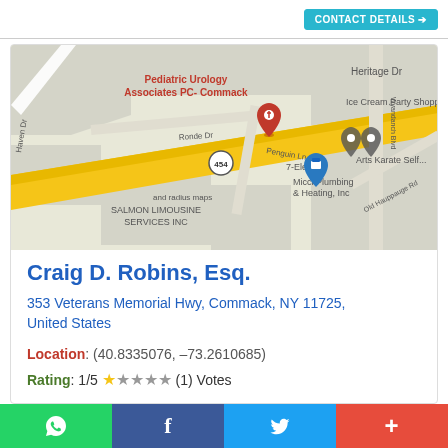[Figure (map): Google Maps screenshot showing Pediatric Urology Associates PC - Commack location at 353 Veterans Memorial Hwy, Commack NY. Map shows nearby landmarks: Ice Cream Party Shoppe, Arts Karate Self..., 7-Eleven, Micci Plumbing & Heating Inc, Salmon Limousine Services Inc, road 454, Ronde Dr, Penguin Ln, Old Hauppauge Rd, Wyandanch Blvd, Haven Dr.]
Craig D. Robins, Esq.
353 Veterans Memorial Hwy, Commack, NY 11725, United States
Location: (40.8335076, -73.2610685)
Rating: 1/5 ★☆☆☆☆ (1) Votes